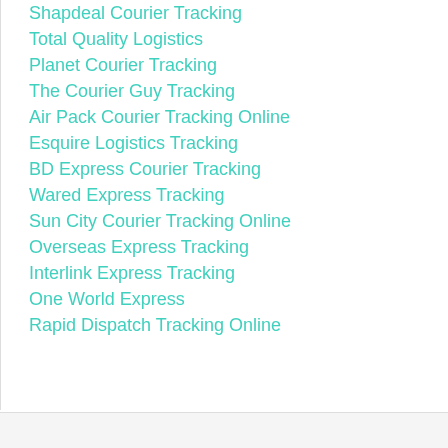Shapdeal Courier Tracking
Total Quality Logistics
Planet Courier Tracking
The Courier Guy Tracking
Air Pack Courier Tracking Online
Esquire Logistics Tracking
BD Express Courier Tracking
Wared Express Tracking
Sun City Courier Tracking Online
Overseas Express Tracking
Interlink Express Tracking
One World Express
Rapid Dispatch Tracking Online